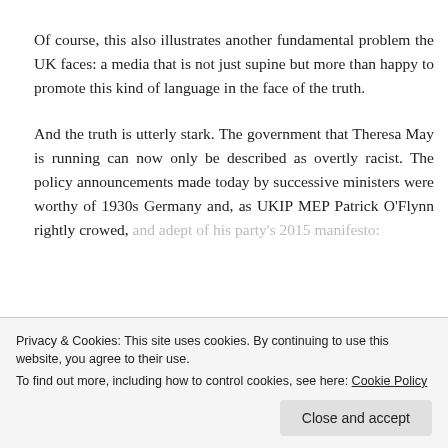Of course, this also illustrates another fundamental problem the UK faces: a media that is not just supine but more than happy to promote this kind of language in the face of the truth.
And the truth is utterly stark. The government that Theresa May is running can now only be described as overtly racist. The policy announcements made today by successive ministers were worthy of 1930s Germany and, as UKIP MEP Patrick O'Flynn rightly crowed, and adept of his party's 2015 manifesto:
Privacy & Cookies: This site uses cookies. By continuing to use this website, you agree to their use.
To find out more, including how to control cookies, see here: Cookie Policy
The number of policies Mrs May is lifting